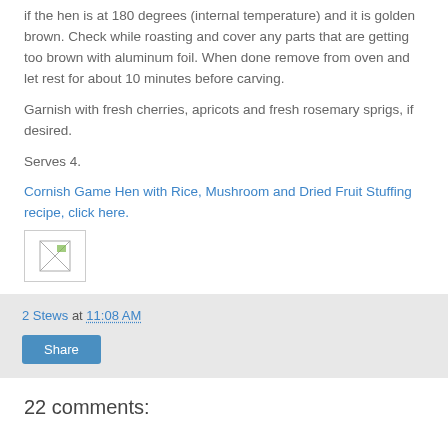if the hen is at 180 degrees (internal temperature) and it is golden brown. Check while roasting and cover any parts that are getting too brown with aluminum foil. When done remove from oven and let rest for about 10 minutes before carving.
Garnish with fresh cherries, apricots and fresh rosemary sprigs, if desired.
Serves 4.
Cornish Game Hen with Rice, Mushroom and Dried Fruit Stuffing recipe, click here.
[Figure (illustration): Small broken image placeholder icon]
2 Stews at 11:08 AM
Share
22 comments: